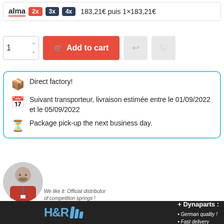alma 2x 3x 4x 183,21€ puis 1×183,21€
[Figure (screenshot): Add to cart row with quantity selector showing 1, red Add to cart button, and two grey icon buttons]
Direct factory!
Suivant transporteur, livraison estimée entre le 01/09/2022 et le 05/09/2022
Package pick-up the next business day.
[Figure (infographic): Banner with person in red shirt, H&R logo, text 'We like it: Official distributor of competition springs!', Dynaparts: German quality!, Fast delivery]